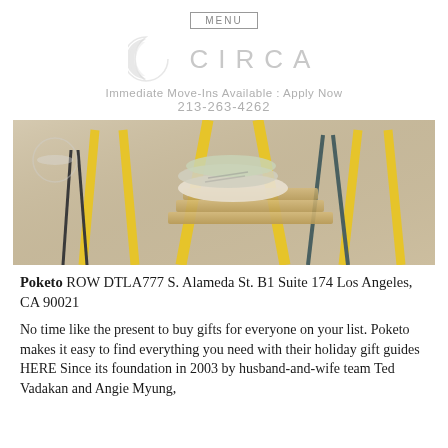MENU
[Figure (logo): CIRCA logo with crescent moon icon in light gray and text CIRCA in spaced letters]
Immediate Move-Ins Available : Apply Now
213-263-4262
[Figure (photo): Interior store photo showing yellow chair legs and stacked cushions/pillows on wooden display platforms on a concrete floor]
Poketo ROW DTLA777 S. Alameda St. B1 Suite 174 Los Angeles, CA 90021
No time like the present to buy gifts for everyone on your list. Poketo makes it easy to find everything you need with their holiday gift guides HERE Since its foundation in 2003 by husband-and-wife team Ted Vadakan and Angie Myung,